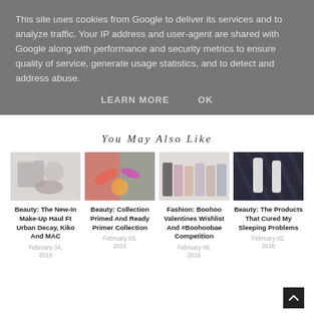This site uses cookies from Google to deliver its services and to analyze traffic. Your IP address and user-agent are shared with Google along with performance and security metrics to ensure quality of service, generate usage statistics, and to detect and address abuse.
LEARN MORE     OK
You May Also Like
[Figure (photo): Beauty makeup flatlay with cosmetics on white background]
Beauty: The New-In Make-Up Haul Ft Urban Decay, Kiko And MAC
February 04, 2016
[Figure (photo): Colorful makeup brushes and beauty products]
Beauty: Collection Primed And Ready Primer Collection
February 03, 2016
[Figure (photo): Fashion models in various outfits standing in a row]
Fashion: Boohoo Valentines Wishlist And #Boohoobae Competition
February 08, 2016
[Figure (photo): Beauty skincare products on dark textured background]
Beauty: The Products That Cured My Sleeping Problems
February 02, 2016